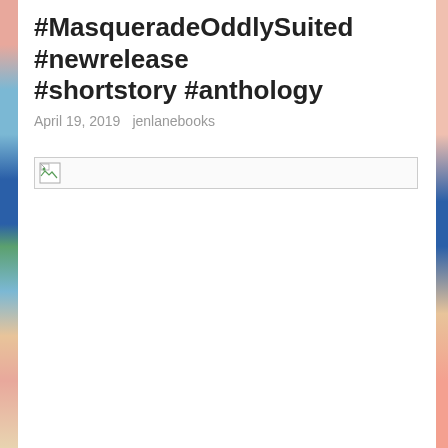#MasqueradeOddlySuited #newrelease #shortstory #anthology
April 19, 2019   jenlanebooks
[Figure (other): Broken/missing image placeholder — a small broken image icon followed by a long empty image container with a border]